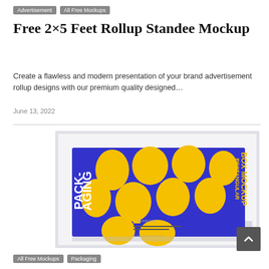Advertisement | All Free Mockups
Free 2×5 Feet Rollup Standee Mockup
Create a flawless and modern presentation of your brand advertisement rollup designs with our premium quality designed…
June 13, 2022
[Figure (photo): A rectangular box packaging mockup with a blue background covered in large yellow oval/egg shapes. Text reads PACK-AGING on the left and RECTANGULAR BOX MOCKUP on the right in white and yellow letters.]
All Free Mockups
Packaging